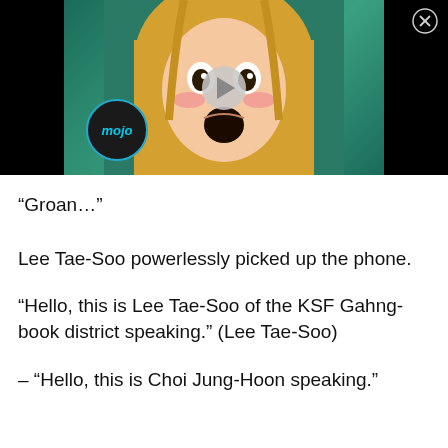[Figure (screenshot): Video thumbnail of anime character (blonde girl with surprised expression) with a play button overlay and WatchMojo logo in bottom left, close button top right, on black background]
“Groan…”
Lee Tae-Soo powerlessly picked up the phone.
“Hello, this is Lee Tae-Soo of the KSF Gahng-book district speaking.” (Lee Tae-Soo)
– “Hello, this is Choi Jung-Hoon speaking.”